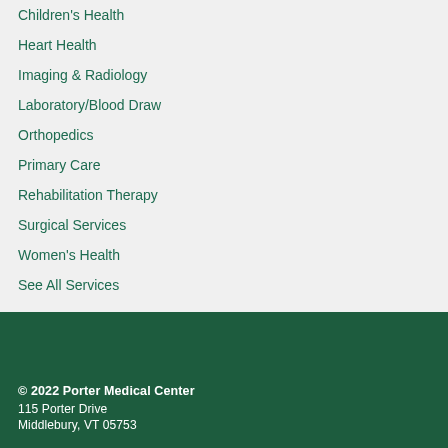Children's Health
Heart Health
Imaging & Radiology
Laboratory/Blood Draw
Orthopedics
Primary Care
Rehabilitation Therapy
Surgical Services
Women's Health
See All Services
© 2022 Porter Medical Center
115 Porter Drive
Middlebury, VT 05753